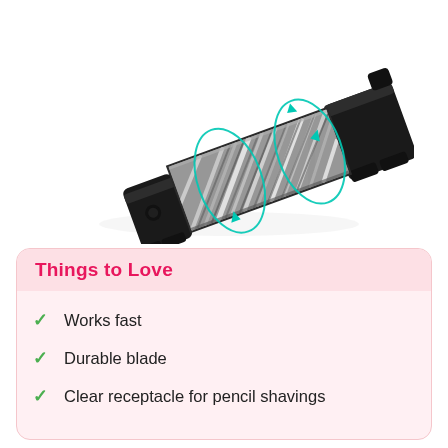[Figure (illustration): 3D rendered illustration of a pencil sharpener mechanism showing metal helical blades inside a black plastic housing. Teal/cyan elliptical orbit indicators and arrow annotations point to the blade assembly.]
Things to Love
Works fast
Durable blade
Clear receptacle for pencil shavings